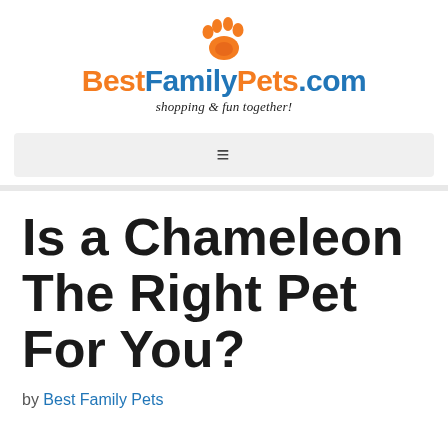[Figure (logo): BestFamilyPets.com logo with orange paw print icon above text. 'Best' and 'Pets.com' in orange, 'Family' and '.com' in blue. Tagline: 'shopping & fun together!' in italic below.]
[Figure (other): Navigation bar with hamburger menu icon (three horizontal lines) on a light gray background]
Is a Chameleon The Right Pet For You?
by Best Family Pets